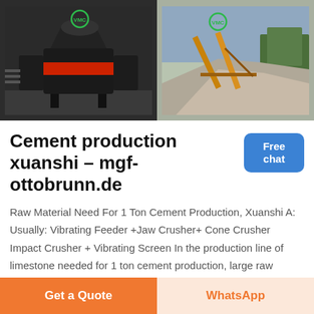[Figure (photo): Two industrial photos side by side: left shows a large black cone crusher machine indoors with green recycling logo overlay; right shows an outdoor quarry/aggregate processing site with conveyor belts and gravel piles with green recycling logo overlay.]
Cement production xuanshi - mgf-ottobrunn.de
Raw Material Need For 1 Ton Cement Production, Xuanshi A: Usually: Vibrating Feeder +Jaw Crusher+ Cone Crusher Impact Crusher + Vibrating Screen In the production line of limestone needed for 1 ton cement production, large raw materials should be fed into the jaw
Get a Quote
WhatsApp